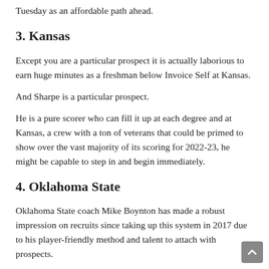Tuesday as an affordable path ahead.
3. Kansas
Except you are a particular prospect it is actually laborious to earn huge minutes as a freshman below Invoice Self at Kansas.
And Sharpe is a particular prospect.
He is a pure scorer who can fill it up at each degree and at Kansas, a crew with a ton of veterans that could be primed to show over the vast majority of its scoring for 2022-23, he might be capable to step in and begin immediately.
4. Oklahoma State
Oklahoma State coach Mike Boynton has made a robust impression on recruits since taking up this system in 2017 due to his player-friendly method and talent to attach with prospects.